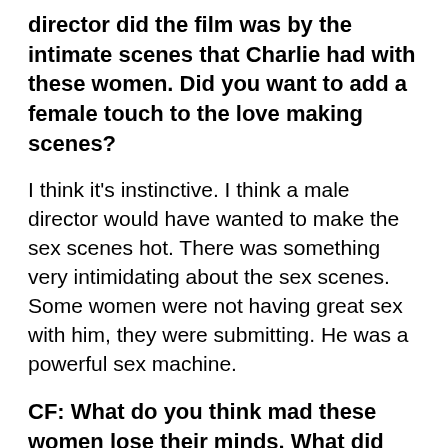director did the film was by the intimate scenes that Charlie had with these women. Did you want to add a female touch to the love making scenes?
I think it's instinctive. I think a male director would have wanted to make the sex scenes hot. There was something very intimidating about the sex scenes. Some women were not having great sex with him, they were submitting. He was a powerful sex machine.
CF: What do you think mad these women lose their minds. What did Charlie do to make them believe things a normal person would not have?